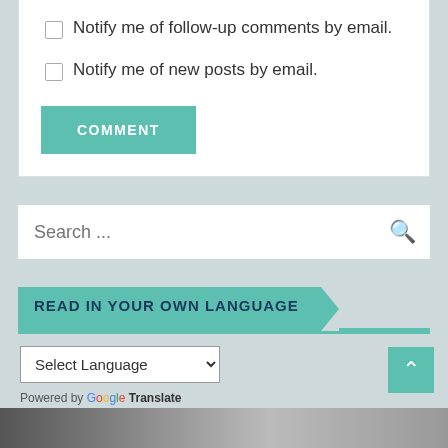Notify me of follow-up comments by email.
Notify me of new posts by email.
COMMENT
Search ...
READ IN YOUR OWN LANGUAGE
Select Language
Powered by Google Translate